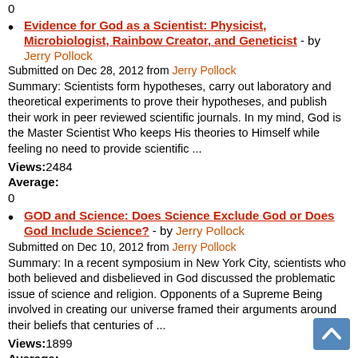0
Evidence for God as a Scientist: Physicist, Microbiologist, Rainbow Creator, and Geneticist - by Jerry Pollock
Submitted on Dec 28, 2012 from Jerry Pollock
Summary: Scientists form hypotheses, carry out laboratory and theoretical experiments to prove their hypotheses, and publish their work in peer reviewed scientific journals. In my mind, God is the Master Scientist Who keeps His theories to Himself while feeling no need to provide scientific ...
Views:2484
Average:
0
GOD and Science: Does Science Exclude God or Does God Include Science? - by Jerry Pollock
Submitted on Dec 10, 2012 from Jerry Pollock
Summary: In a recent symposium in New York City, scientists who both believed and disbelieved in God discussed the problematic issue of science and religion. Opponents of a Supreme Being involved in creating our universe framed their arguments around their beliefs that centuries of ...
Views:1899
Average:
0
God and Science: What do You Believe God is Responsible for in Our Earthly World? - by Jerry Pollock
Submitted on Oct 10, 2012 from Jerry Pollock
Summary: Take the test. Are you an atheist, an agnostic, a humanist, a believer but not a good person, a believer and a good...